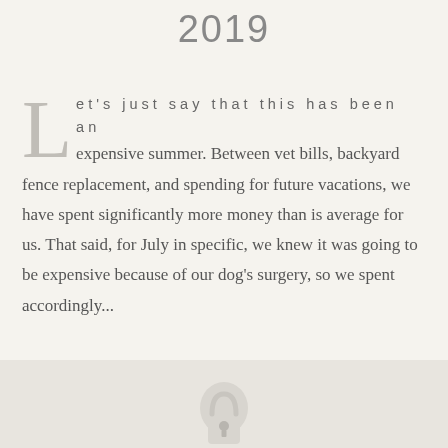2019
Let's just say that this has been an expensive summer. Between vet bills, backyard fence replacement, and spending for future vacations, we have spent significantly more money than is average for us. That said, for July in specific, we knew it was going to be expensive because of our dog's surgery, so we spent accordingly...
[Figure (illustration): Lock icon at bottom center of page on a light grey bar]